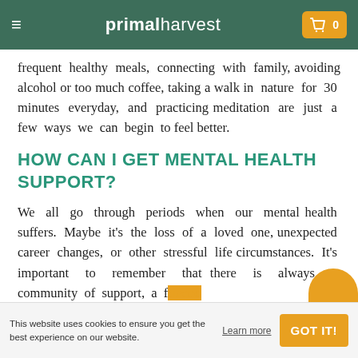primal harvest
frequent healthy meals, connecting with family, avoiding alcohol or too much coffee, taking a walk in nature for 30 minutes everyday, and practicing meditation are just a few ways we can begin to feel better.
HOW CAN I GET MENTAL HEALTH SUPPORT?
We all go through periods when our mental health suffers. Maybe it's the loss of a loved one, unexpected career changes, or other stressful life circumstances. It's important to remember that there is always a community of support, a fri...
This website uses cookies to ensure you get the best experience on our website. Learn more GOT IT!